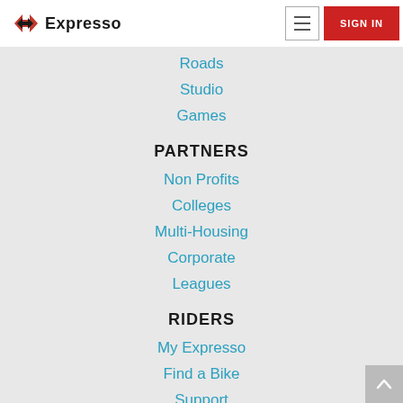Expresso
Roads
Studio
Games
PARTNERS
Non Profits
Colleges
Multi-Housing
Corporate
Leagues
RIDERS
My Expresso
Find a Bike
Support
OWNERS